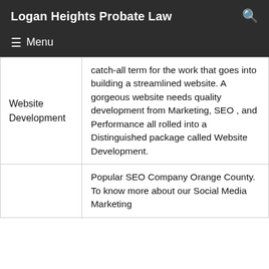Logan Heights Probate Law
| Website Development | catch-all term for the work that goes into building a streamlined website. A gorgeous website needs quality development from Marketing, SEO , and Performance all rolled into a Distinguished package called Website Development. |
|  | Popular SEO Company Orange County. To know more about our Social Media Marketing |